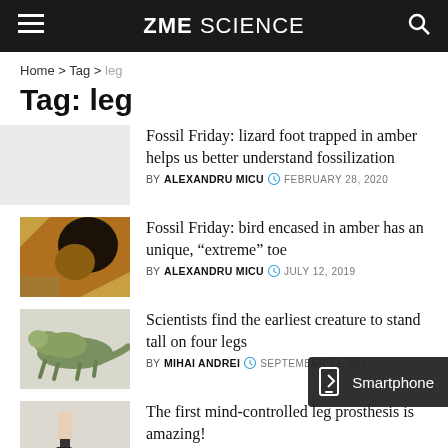ZME SCIENCE
Home > Tag > leg
Tag: leg
[Figure (photo): Light grey placeholder thumbnail for fossil lizard article]
Fossil Friday: lizard foot trapped in amber helps us better understand fossilization
BY ALEXANDRU MICU  FEBRUARY 28, 2020
[Figure (photo): Amber fossil photo showing brown and black coloration with bird specimen]
Fossil Friday: bird encased in amber has an unique, “extreme” toe
BY ALEXANDRU MICU  JULY 12, 2019
[Figure (photo): Green reptile-like creature figurine on white background]
Scientists find the earliest creature to stand tall on four legs
BY MIHAI ANDREI  SEPTEMBER 21, 201
[Figure (photo): Person wearing a leg prosthesis]
The first mind-controlled leg prosthesis is amazing!